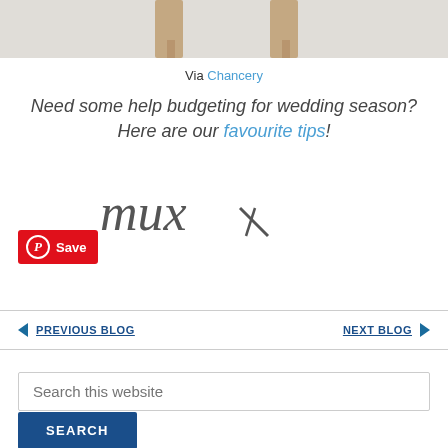[Figure (photo): Bottom portion of a model wearing nude/tan strappy heels against a light grey background]
Via Chancery
Need some help budgeting for wedding season? Here are our favourite tips!
[Figure (logo): Handwritten signature/logo in dark grey cursive text]
Save
PREVIOUS BLOG
NEXT BLOG
Search this website
SEARCH